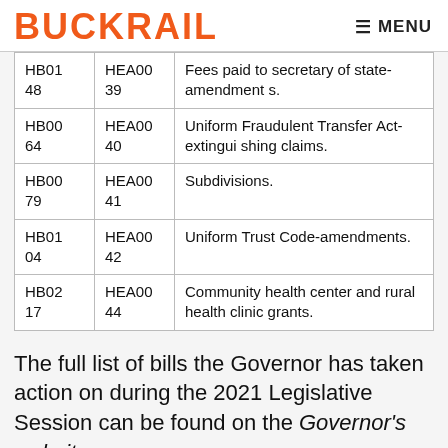BUCKRAIL   MENU
| HB0148 | HEA0039 | Fees paid to secretary of state-amendments. |
| HB0064 | HEA0040 | Uniform Fraudulent Transfer Act-extinguishing claims. |
| HB0079 | HEA0041 | Subdivisions. |
| HB0104 | HEA0042 | Uniform Trust Code-amendments. |
| HB0217 | HEA0044 | Community health center and rural health clinic grants. |
The full list of bills the Governor has taken action on during the 2021 Legislative Session can be found on the Governor's website.